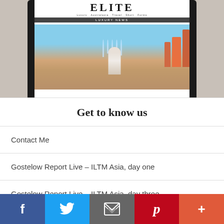[Figure (screenshot): Screenshot of a tablet showing a luxury travel publication homepage with a photo of a woman at a fountain in Abu Dhabi/Dubai, with tall orange-red buildings and blue sky. The publication header reads 'ELITE' with 'LUXURY NEWS' bar.]
Get to know us
Contact Me
Gostelow Report Live – ILTM Asia, day one
Gostelow Report Live – ILTM Asia, day three
Gostelow Report Live – ILTM Asia, day
[Figure (infographic): Social media share bar at the bottom with Facebook (blue), Twitter (light blue), Email (grey), Pinterest (red), and More (orange-red) buttons with their respective icons.]